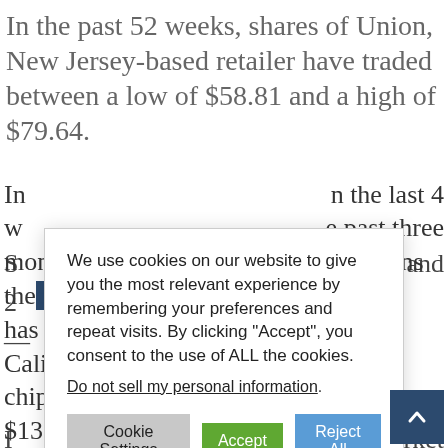In the past 52 weeks, shares of Union, New Jersey-based retailer have traded between a low of $58.81 and a high of $79.64.
S... ear and 2... I... ded to 'Market P... n' by JMP S... an improved o...
[Figure (screenshot): Cookie consent dialog overlay with text: 'We use cookies on our website to give you the most relevant experience by remembering your preferences and repeat visits. By clicking "Accept", you consent to the use of ALL the cookies.' Link: 'Do not sell my personal information'. Buttons: 'Cookie Settings', 'Accept', 'Reject All'.]
In... n the last 4 w... e past three months. Over the past 5 trading sessions the stock has lost 4.14%. The Santa Clara, California-based chipmaker, which is currently valued at $137.87